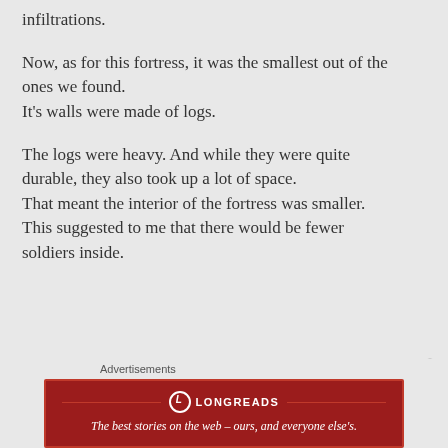infiltrations.
Now, as for this fortress, it was the smallest out of the ones we found.
It’s walls were made of logs.
The logs were heavy. And while they were quite durable, they also took up a lot of space.
That meant the interior of the fortress was smaller.
This suggested to me that there would be fewer soldiers inside.
Advertisements
[Figure (logo): Longreads advertisement banner: red background with Longreads logo and tagline 'The best stories on the web – ours, and everyone else’s.']